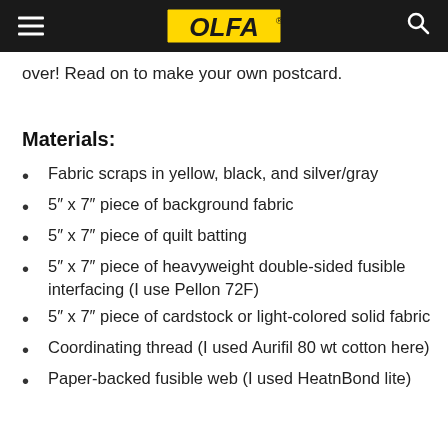OLFA
over! Read on to make your own postcard.
Materials:
Fabric scraps in yellow, black, and silver/gray
5″ x 7″ piece of background fabric
5″ x 7″ piece of quilt batting
5″ x 7″ piece of heavyweight double-sided fusible interfacing (I use Pellon 72F)
5″ x 7″ piece of cardstock or light-colored solid fabric
Coordinating thread (I used Aurifil 80 wt cotton here)
Paper-backed fusible web (I used HeatnBond lite)